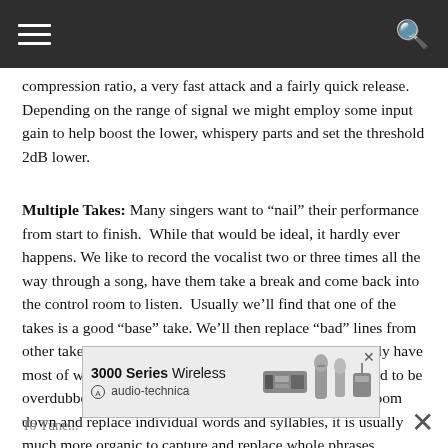Navigation bar with hamburger menu and search icon
compression ratio, a very fast attack and a fairly quick release. Depending on the range of signal we might employ some input gain to help boost the lower, whispery parts and set the threshold 2dB lower.
Multiple Takes: Many singers want to “nail” their performance from start to finish. While that would be ideal, it hardly ever happens. We like to record the vocalist two or three times all the way through a song, have them take a break and come back into the control room to listen. Usually we’ll find that one of the takes is a good “base” take. We’ll then replace “bad” lines from other takes. When we’re done with this process we usually have most of what we need, with maybe a couple lines that need to be overdubbed. A note about replacement: while you can zoom down and replace individual words and syllables, it is usually much more organic to capture and replace whole phrases whenever possible.
To Tune...
[Figure (illustration): Advertisement banner for Audio-Technica 3000 Series Wireless microphones, showing text '3000 Series Wireless audio-technica' with microphone product images]